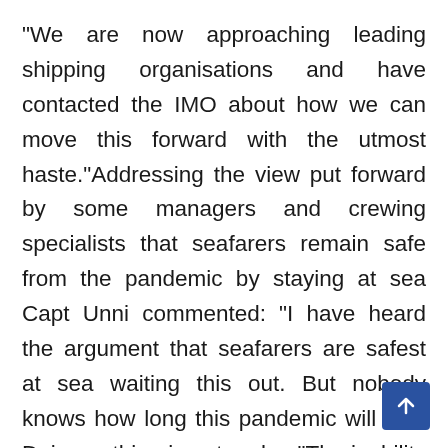“We are now approaching leading shipping organisations and have contacted the IMO about how we can move this forward with the utmost haste.”Addressing the view put forward by some managers and crewing specialists that seafarers remain safe from the pandemic by staying at sea Capt Unni commented: “I have heard the argument that seafarers are safest at sea waiting this out. But nobody knows how long this pandemic will last. Doing nothing is not a plan.”The inability to enact crew changes is a threat to the mental health of seafarers. They can’t stay at sea indefinitely.”